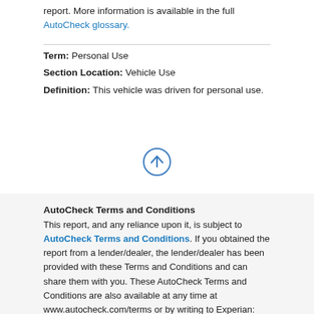report. More information is available in the full AutoCheck glossary.
Term: Personal Use
Section Location: Vehicle Use
Definition: This vehicle was driven for personal use.
[Figure (illustration): Upward arrow icon inside a circle (navigation/back-to-top button)]
AutoCheck Terms and Conditions
This report, and any reliance upon it, is subject to AutoCheck Terms and Conditions. If you obtained the report from a lender/dealer, the lender/dealer has been provided with these Terms and Conditions and can share them with you. These AutoCheck Terms and Conditions are also available at any time at www.autocheck.com/terms or by writing to Experian: Experian Automotive C/O AutoCheck Customer Service 955 American Lane Schaumburg, IL 60173.
Buyback Protection Terms and Conditions
This vehicle (1FT7X2B67BED05900) qualifies for AutoCheck Buyback Protection. If you obtained the report from a dealer, the dealer has been provided with the terms and can share them with you. These Buyback Protection Terms and Conditions are also available to you at any time at www.autocheck.com/bbterms or by writing to Experian: